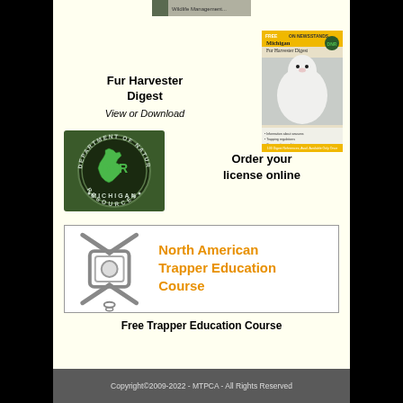[Figure (screenshot): Partial view of a small image at top (cropped Wildlife Management link image)]
[Figure (illustration): Michigan Fur Harvester Digest cover — yellow header, photo of white ermine/stoat animal, text listing information]
Fur Harvester Digest
View or Download
[Figure (logo): Michigan Department of Natural Resources circular badge logo with DNR text and Michigan state outline on dark green/black background]
Order your license online
[Figure (illustration): North American Trapper Education Course banner — steel leg-hold trap illustration on left, orange bold text on right reading 'North American Trapper Education Course']
Free Trapper Education Course
Copyright©2009-2022 - MTPCA - All Rights Reserved